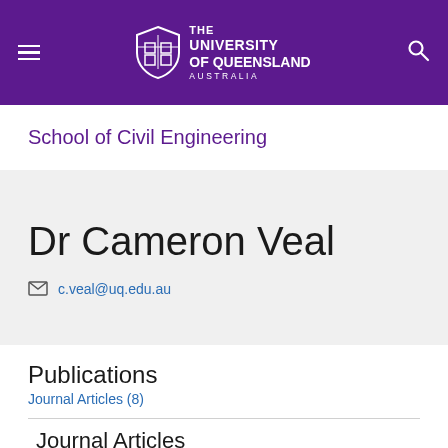The University of Queensland Australia
School of Civil Engineering
Dr Cameron Veal
c.veal@uq.edu.au
Publications
Journal Articles (8)
Journal Articles